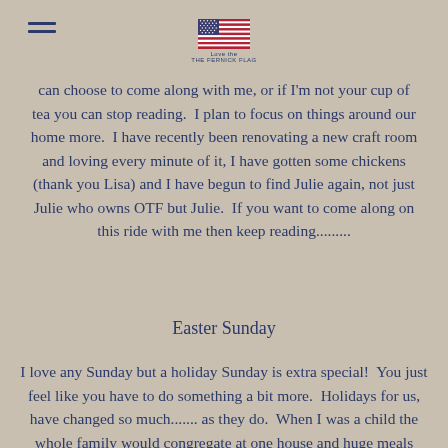[hamburger menu icon] [US flag logo with text]
can choose to come along with me, or if I'm not your cup of tea you can stop reading.  I plan to focus on things around our home more.  I have recently been renovating a new craft room and loving every minute of it, I have gotten some chickens (thank you Lisa) and I have begun to find Julie again, not just Julie who owns OTF but Julie.  If you want to come along on this ride with me then keep reading.........
Easter Sunday
I love any Sunday but a holiday Sunday is extra special!  You just feel like you have to do something a bit more.  Holidays for us, have changed so much....... as they do.  When I was a child the whole family would congregate at one house and huge meals would be served, laughter, (sometimes loud discussion) games...good times!  Then I